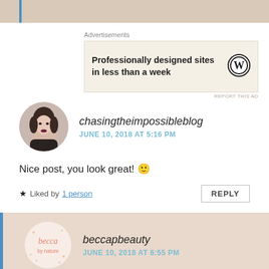[Figure (other): Top beige banner strip with blue left bar]
Advertisements
[Figure (other): WordPress ad: Professionally designed sites in less than a week, with WordPress logo]
REPORT THIS AD
chasingtheimpossibleblog
JUNE 10, 2018 AT 5:16 PM
Nice post, you look great! 🙂
★ Liked by 1 person
REPLY
beccapbeauty
JUNE 10, 2018 AT 6:55 PM
Thanks so much! X